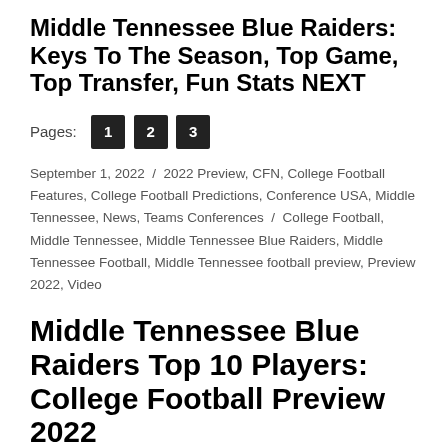Middle Tennessee Blue Raiders: Keys To The Season, Top Game, Top Transfer, Fun Stats NEXT
Pages: 1 2 3
September 1, 2022 / 2022 Preview, CFN, College Football Features, College Football Predictions, Conference USA, Middle Tennessee, News, Teams Conferences / College Football, Middle Tennessee, Middle Tennessee Blue Raiders, Middle Tennessee Football, Middle Tennessee football preview, Preview 2022, Video
Middle Tennessee Blue Raiders Top 10 Players: College Football Preview 2022